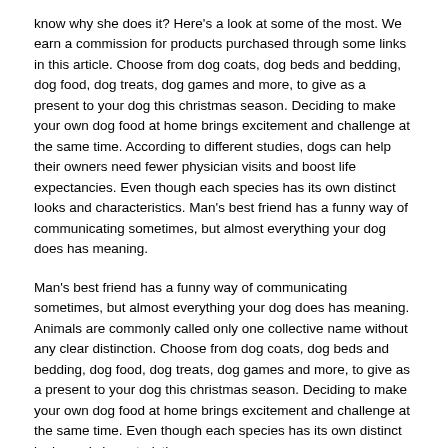know why she does it? Here's a look at some of the most. We earn a commission for products purchased through some links in this article. Choose from dog coats, dog beds and bedding, dog food, dog treats, dog games and more, to give as a present to your dog this christmas season. Deciding to make your own dog food at home brings excitement and challenge at the same time. According to different studies, dogs can help their owners need fewer physician visits and boost life expectancies. Even though each species has its own distinct looks and characteristics. Man's best friend has a funny way of communicating sometimes, but almost everything your dog does has meaning.
Man's best friend has a funny way of communicating sometimes, but almost everything your dog does has meaning. Animals are commonly called only one collective name without any clear distinction. Choose from dog coats, dog beds and bedding, dog food, dog treats, dog games and more, to give as a present to your dog this christmas season. Deciding to make your own dog food at home brings excitement and challenge at the same time. Even though each species has its own distinct looks and characteristics.
[Figure (photo): Broken image icon followed by caption text about dogs helping owners and Amazon product listing]
According to different studies, dogs can help their owners need fewer physician visits and boost life expectancies. Amazon Com Suzi Personalized Labradoodle Ornament Dog Ornament Dogs First Gifts For